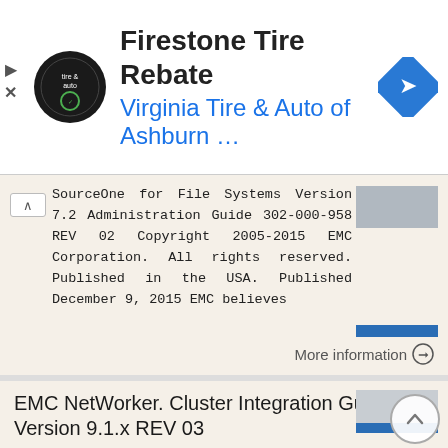[Figure (other): Firestone Tire Rebate advertisement banner with tire and auto logo, blue text subtitle 'Virginia Tire & Auto of Ashburn...', and a blue diamond navigation arrow icon on the right.]
SourceOne for File Systems Version 7.2 Administration Guide 302-000-958 REV 02 Copyright 2005-2015 EMC Corporation. All rights reserved. Published in the USA. Published December 9, 2015 EMC believes
More information →
EMC NetWorker. Cluster Integration Guide. Version 9.1.x REV 03
EMC NetWorker Version 9.1.x Cluster Integration Guide 302-003-256 REV 03 Copyright 1990-2017 Dell Inc. or its subsidiaries. All rights reserved. Published April 2017 Dell believes the information in this